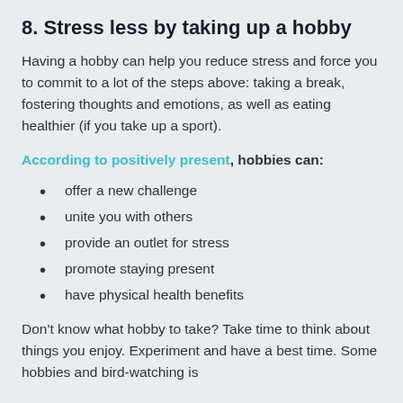8. Stress less by taking up a hobby
Having a hobby can help you reduce stress and force you to commit to a lot of the steps above: taking a break, fostering thoughts and emotions, as well as eating healthier (if you take up a sport).
According to positively present, hobbies can:
offer a new challenge
unite you with others
provide an outlet for stress
promote staying present
have physical health benefits
Don't know what hobby to take? Take time to think about things you enjoy. Experiment and have a best time. Some hobbies and bird-watching is